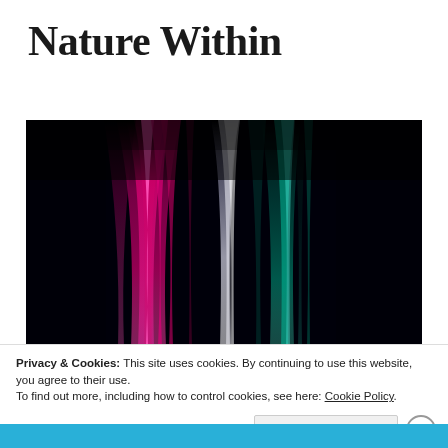Nature Within
[Figure (photo): Aurora borealis / abstract light streaks in magenta, pink, green, and white against a dark black background, resembling northern lights or fiber-optic light trails.]
Privacy & Cookies: This site uses cookies. By continuing to use this website, you agree to their use.
To find out more, including how to control cookies, see here: Cookie Policy
Close and accept